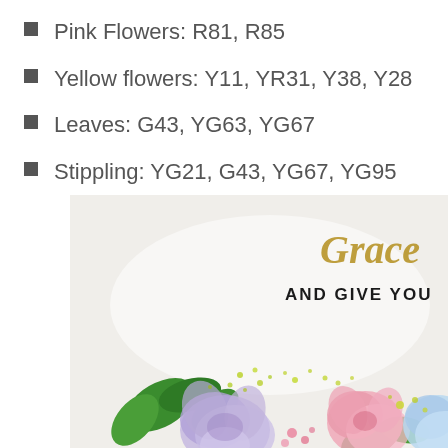Pink Flowers: R81, R85
Yellow flowers: Y11, YR31, Y38, Y28
Leaves: G43, YG63, YG67
Stippling: YG21, G43, YG67, YG95
[Figure (photo): Close-up photo of a handmade greeting card featuring colorful flowers (purple, pink, blue) with green leaves and yellow-green stippling dots at the bottom, and partial gold script text reading 'Grace' and black text 'AND GIVE YOU' visible at the top right.]